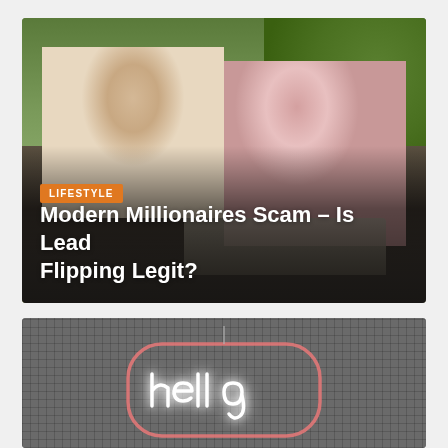[Figure (photo): Photo of two people (a man in a light hoodie and a woman in a pink top) sitting outdoors on a balcony or patio, looking at a laptop. Green hedge and trees are visible in the background. An orange 'LIFESTYLE' badge and white title text overlay the bottom of the image.]
Modern Millionaires Scam – Is Lead Flipping Legit?
[Figure (photo): Photo of a dark grey mesh/grid background with a neon sign spelling 'hello' in white/pink cursive neon lights, partially visible at the bottom of the page.]